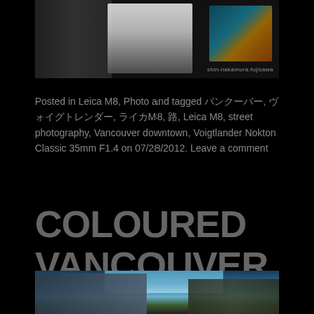[Figure (photo): A photograph showing two people on a street, likely Vancouver downtown. Dark tones with figures in foreground. Watermark visible in lower right corner reading photography credit.]
Posted in Leica M8, Photo and tagged バンクーバー, ヴォイグトレンダー, ライカM8, 路, Leica M8, street photography, Vancouver downtown, Voigtlander Nokton Classic 35mm F1.4 on 07/28/2012. Leave a comment
COLOURED VANCOUVER, 12MM PART 3
[Figure (photo): A photograph showing buildings in Vancouver with blue sky, taken with a wide angle lens. Dark building facades visible on left and right sides with sky in the center.]